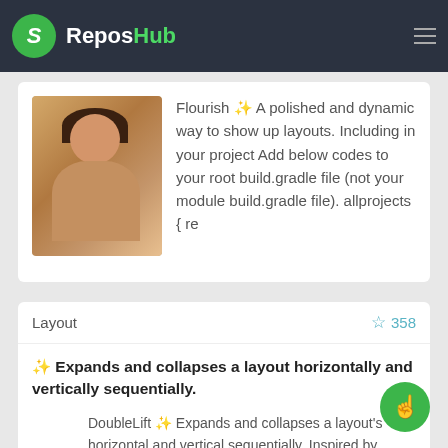ReposHub
[Figure (photo): Profile photo of a young Asian person wearing a patterned garment]
Flourish ✨ A polished and dynamic way to show up layouts. Including in your project Add below codes to your root build.gradle file (not your module build.gradle file). allprojects { re
Layout ☆ 358
✨ Expands and collapses a layout horizontally and vertically sequentially.
DoubleLift ✨ Expands and collapses a layout's horizontal and vertical sequentially. Inspired by "Viewing Labels" from the Trello. Including in your project Gradle Add below codes to